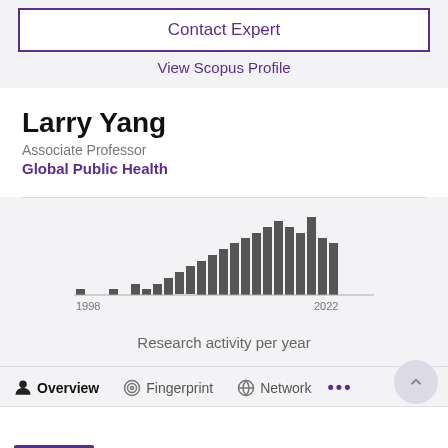Contact Expert
View Scopus Profile
Larry Yang
Associate Professor
Global Public Health
[Figure (bar-chart): Research activity per year]
Research activity per year
Overview
Fingerprint
Network